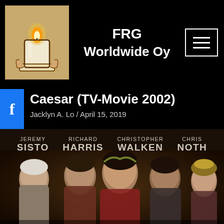[Figure (logo): FRG Worldwide Oy logo — stylized candle illustration on warm beige/tan background]
FRG Worldwide Oy
[Figure (other): Hamburger menu icon button (three horizontal lines in a white-bordered rectangle)]
Caesar (TV-Movie 2002)
Jacklyn A. Lo / April 15, 2019
[Figure (photo): Movie poster for Caesar (TV-Movie 2002) showing actors Jeremy Sisto, Richard Harris, Christopher Walken, Chris Noth with their names displayed above in capital letters]